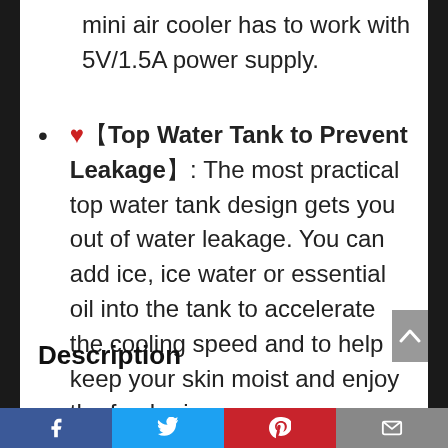mini air cooler has to work with 5V/1.5A power supply.
❤️【Top Water Tank to Prevent Leakage】: The most practical top water tank design gets you out of water leakage. You can add ice, ice water or essential oil into the tank to accelerate the cooling speed and to help keep your skin moist and enjoy the fresh air.
Description